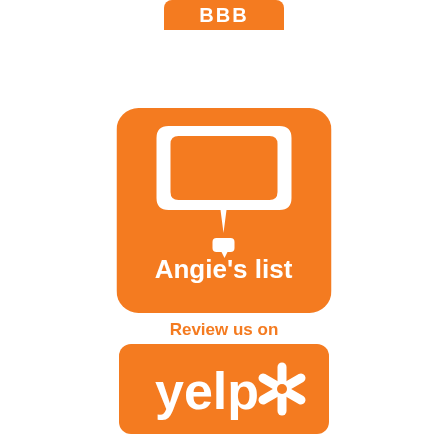[Figure (logo): Partial BBB (Better Business Bureau) logo — orange rounded rectangle with white 'BBB' text, cropped at top edge of page]
[Figure (logo): Angie's List logo — orange rounded square with white speech bubble icon and white 'Angie's list' text with small speech bubble over the apostrophe]
Review us on
[Figure (logo): Yelp logo — orange rounded rectangle with white 'yelp' text and white asterisk/burst icon]